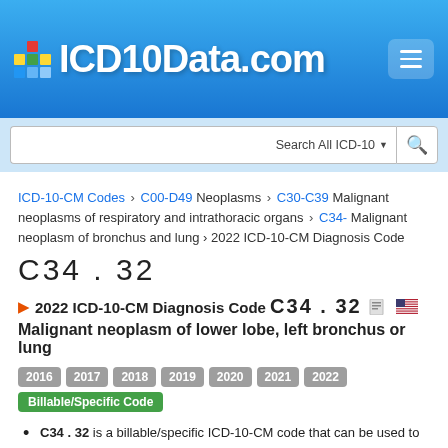ICD10Data.com
Search All ICD-10
ICD-10-CM Codes › C00-D49 Neoplasms › C30-C39 Malignant neoplasms of respiratory and intrathoracic organs › C34- Malignant neoplasm of bronchus and lung › 2022 ICD-10-CM Diagnosis Code C34 . 32
C34 . 32
2022 ICD-10-CM Diagnosis Code C34 . 32
Malignant neoplasm of lower lobe, left bronchus or lung
2016 2017 2018 2019 2020 2021 2022 Billable/Specific Code
C34 . 32 is a billable/specific ICD-10-CM code that can be used to indicate a diagnosis for reimbursement purposes.
The 2022 edition of ICD-10-CM C34 . 32 became effective on October 1, 2021.
This is the American ICD-10-CM version of C34 . 32 - other international versions of ICD-10 C34 . 32 may differ.